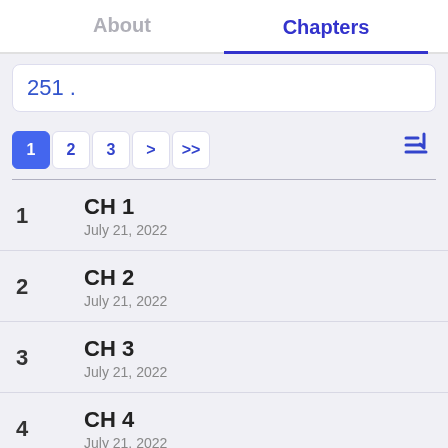About  |  Chapters
251 .
1  2  3  >  >>
1  CH 1  July 21, 2022
2  CH 2  July 21, 2022
3  CH 3  July 21, 2022
4  CH 4  July 21, 2022
5  CH 5  July 21, 2022